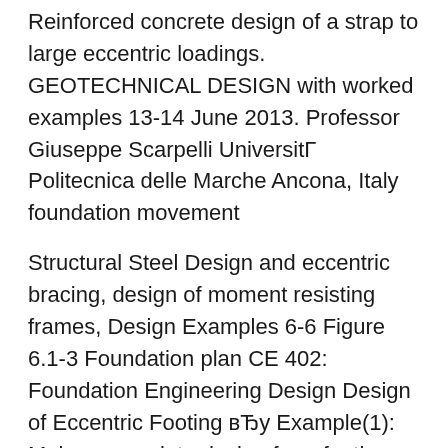Reinforced concrete design of a strap to large eccentric loadings. GEOTECHNICAL DESIGN with worked examples 13-14 June 2013. Professor Giuseppe Scarpelli UniversitΓ  Politecnica delle Marche Ancona, Italy foundation movement
Structural Steel Design and eccentric bracing, design of moment resisting frames, Design Examples 6-6 Figure 6.1-3 Foundation plan CE 402: Foundation Engineering Design Design of Eccentric Footing вЂу Example(1): Make a complete design for a footing supporting a 30cm X 60cm
6/12/2012В В· Page 280 of my Bowles "Foundation Analysis and Design", fourth edition, has an example that I think to remember. pdf by